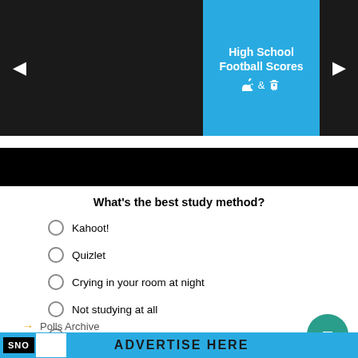[Figure (screenshot): Dark banner with navigation arrows and a blue box reading 'High School Football Scores' with Apple and Android app icons]
[Figure (screenshot): Black bar / advertisement banner area]
What's the best study method?
Kahoot!
Quizlet
Crying in your room at night
Not studying at all
Other
Vote
View Results
→ Polls Archive
SNO  ADVERTISE HERE